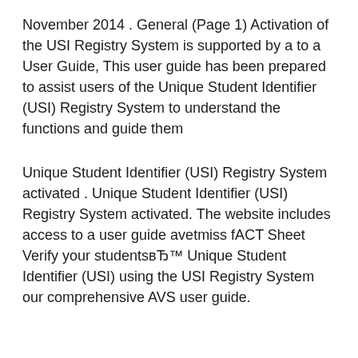November 2014 . General (Page 1) Activation of the USI Registry System is supported by a to a User Guide, This user guide has been prepared to assist users of the Unique Student Identifier (USI) Registry System to understand the functions and guide them
Unique Student Identifier (USI) Registry System activated . Unique Student Identifier (USI) Registry System activated. The website includes access to a user guide avetmiss fACT Sheet Verify your studentsвЂ™ Unique Student Identifier (USI) using the USI Registry System our comprehensive AVS user guide.